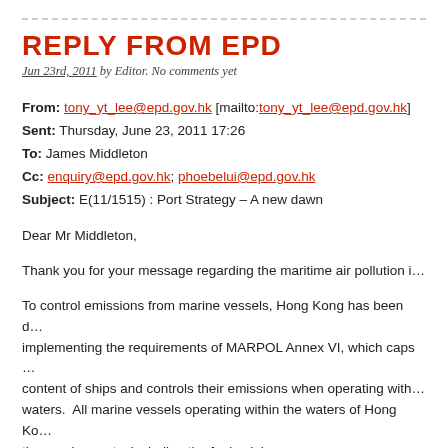REPLY FROM EPD
Jun 23rd, 2011 by Editor. No comments yet
From: tony_yt_lee@epd.gov.hk [mailto:tony_yt_lee@epd.gov.hk]
Sent: Thursday, June 23, 2011 17:26
To: James Middleton
Cc: enquiry@epd.gov.hk; phoebelui@epd.gov.hk
Subject: E(11/1515) : Port Strategy – A new dawn
Dear Mr Middleton,
Thank you for your message regarding the maritime air pollution i…
To control emissions from marine vessels, Hong Kong has been d… implementing the requirements of MARPOL Annex VI, which caps … content of ships and controls their emissions when operating with… waters.  All marine vessels operating within the waters of Hong Ko… the requirements, including the fuel sulphur cap.